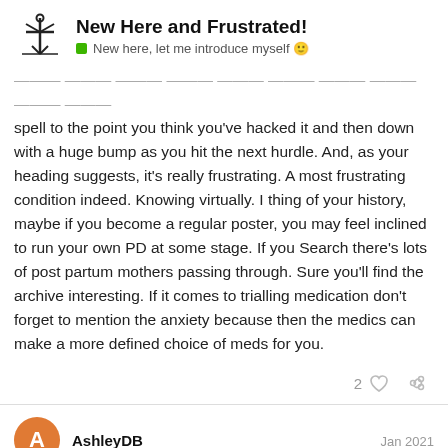New Here and Frustrated! — New here, let me introduce myself
spell to the point you think you've hacked it and then down with a huge bump as you hit the next hurdle. And, as your heading suggests, it's really frustrating. A most frustrating condition indeed. Knowing virtually. I thing of your history, maybe if you become a regular poster, you may feel inclined to run your own PD at some stage. If you Search there's lots of post partum mothers passing through. Sure you'll find the archive interesting. If it comes to trialling medication don't forget to mention the anxiety because then the medics can make a more defined choice of meds for you.
2 [likes] [link]
AshleyDB — Jan 2021
Thanks for your insight! I do always think I when I feel normal again. I'm usually ok if